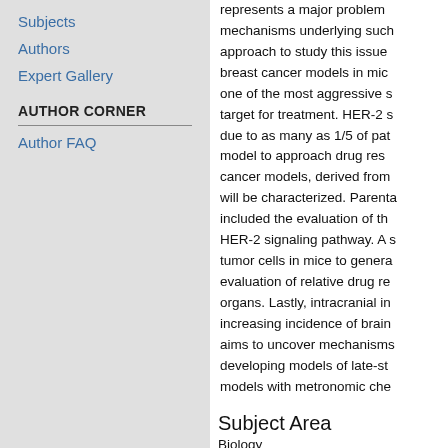Subjects
Authors
Expert Gallery
AUTHOR CORNER
Author FAQ
represents a major problem... mechanisms underlying such... approach to study this issue... breast cancer models in mice... one of the most aggressive s... target for treatment. HER-2 s... due to as many as 1/5 of pat... model to approach drug res... cancer models, derived from... will be characterized. Parenta... included the evaluation of th... HER-2 signaling pathway. A s... tumor cells in mice to genera... evaluation of relative drug re... organs. Lastly, intracranial in... increasing incidence of brain... aims to uncover mechanisms... developing models of late-st... models with metronomic che...
Subject Area
Biology